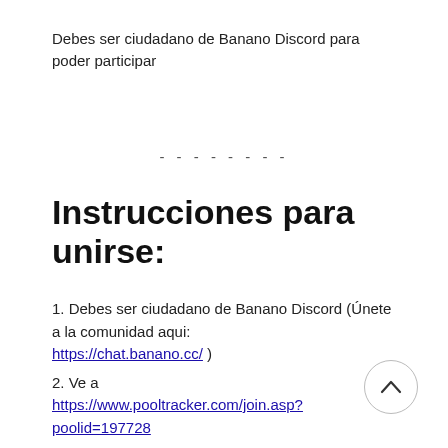Debes ser ciudadano de Banano Discord para poder participar
- - - - - - - -
Instrucciones para unirse:
1. Debes ser ciudadano de Banano Discord (Únete a la comunidad aqui: https://chat.banano.cc/ )
2. Ve a https://www.pooltracker.com/join.asp?poolid=197728
3. Completa la información requerida.